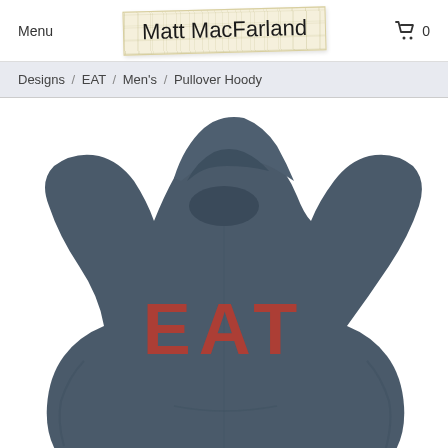Menu | Matt MacFarland | Cart 0
Designs / EAT / Men's / Pullover Hoody
[Figure (photo): Dark heather gray pullover hoodie with the text 'EAT' printed in large red distressed letters on the chest, shown from the back]